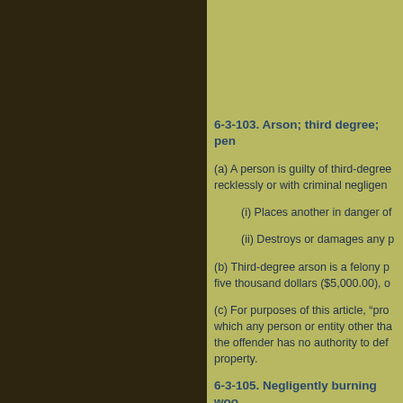6-3-103. Arson; third degree; pen
(a) A person is guilty of third-degree arson if he, recklessly or with criminal negligen
(i) Places another in danger of
(ii) Destroys or damages any p
(b) Third-degree arson is a felony p five thousand dollars ($5,000.00), o
(c) For purposes of this article, “pro which any person or entity other tha the offender has no authority to def property.
6-3-105. Negligently burning woo
(a) A person is guilty of a misdeme more than seven hundred fifty dolla negligence: